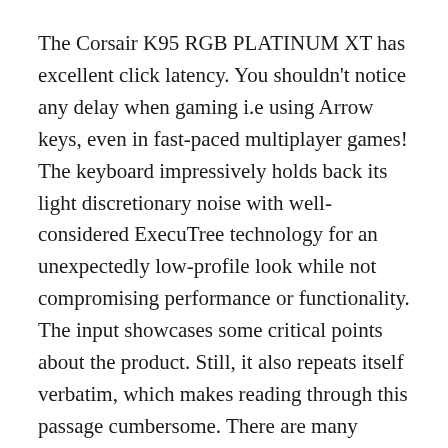The Corsair K95 RGB PLATINUM XT has excellent click latency. You shouldn't notice any delay when gaming i.e using Arrow keys, even in fast-paced multiplayer games! The keyboard impressively holds back its light discretionary noise with well-considered ExecuTree technology for an unexpectedly low-profile look while not compromising performance or functionality. The input showcases some critical points about the product. Still, it also repeats itself verbatim, which makes reading through this passage cumbersome. There are many instances where I would much instead read one interesting fact than hear another person repeat themselves word salad style.